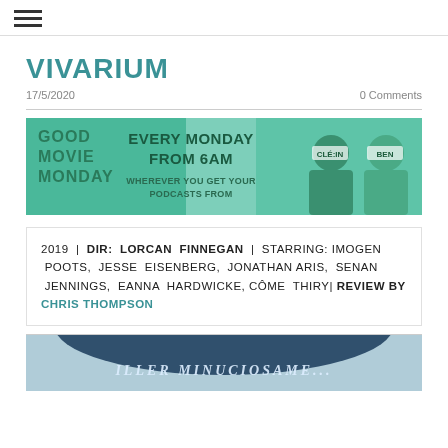≡ (hamburger menu icon)
VIVARIUM
17/5/2020    0 Comments
[Figure (photo): Good Movie Monday podcast banner – green background with two hosts and text: GOOD MOVIE MONDAY / EVERY MONDAY FROM 6AM / WHEREVER YOU GET YOUR PODCASTS FROM]
2019 | DIR: LORCAN FINNEGAN | STARRING: IMOGEN POOTS, JESSE EISENBERG, JONATHAN ARIS, SENAN JENNINGS, EANNA HARDWICKE, CÔME THIRY | REVIEW BY CHRIS THOMPSON
[Figure (photo): Partial bottom image with text: ILLER MINUCIOSAMEN (partially visible)]